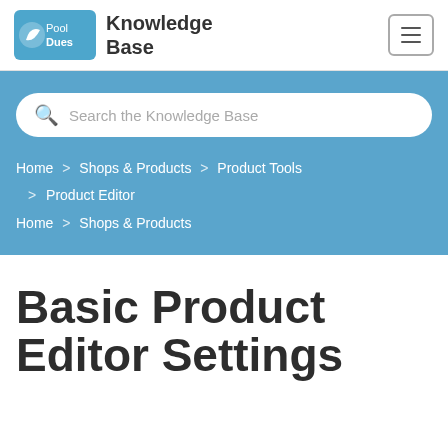PoolDues Knowledge Base
[Figure (screenshot): Search bar with placeholder text 'Search the Knowledge Base']
Home > Shops & Products > Product Tools > Product Editor
Home > Shops & Products
Basic Product Editor Settings